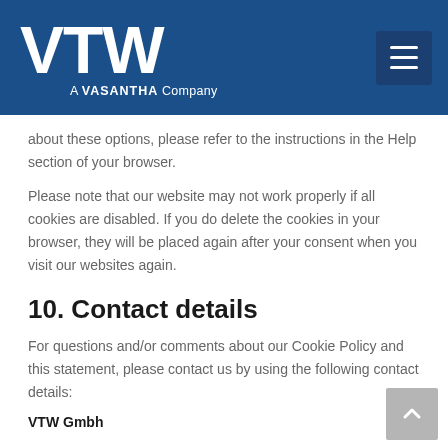VTW — A VASANTHA Company
about these options, please refer to the instructions in the Help section of your browser.
Please note that our website may not work properly if all cookies are disabled. If you do delete the cookies in your browser, they will be placed again after your consent when you visit our websites again.
10. Contact details
For questions and/or comments about our Cookie Policy and this statement, please contact us by using the following contact details:
VTW Gmbh